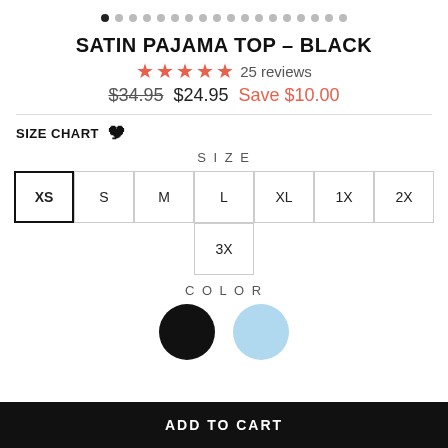[Figure (other): Dot pagination indicators row with one filled black dot and many grey dots]
SATIN PAJAMA TOP – BLACK
★★★★★ 25 reviews
$34.95  $24.95  Save $10.00
SIZE CHART 🎞
SIZE
XS  S  M  L  XL  1X  2X  3X
COLOR
[Figure (illustration): Two color swatches: black circle and light blue circle]
ADD TO CART